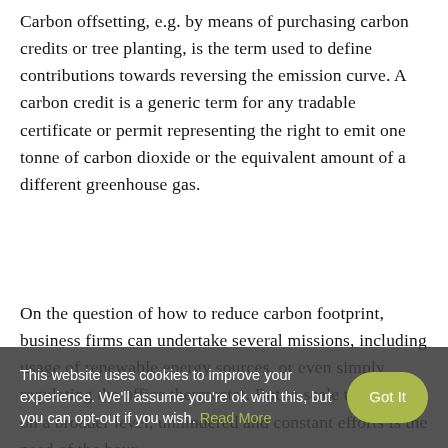Carbon offsetting, e.g. by means of purchasing carbon credits or tree planting, is the term used to define contributions towards reversing the emission curve. A carbon credit is a generic term for any tradable certificate or permit representing the right to emit one tonne of carbon dioxide or the equivalent amount of a different greenhouse gas.
On the question of how to reduce carbon footprint, business firms can undertake several missions, including usage of renewable energy sources, or even simply regulating the office thermostat. But to scale the impact on a broader level, unhindered and constant efforts is the need of the hour.
This website uses cookies to improve your experience. We'll assume you're ok with this, but you can opt-out if you wish. Read More